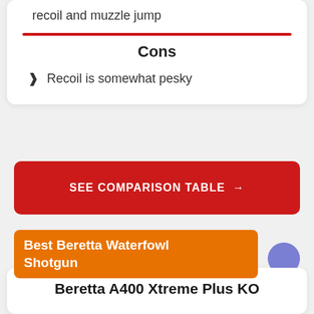recoil and muzzle jump
Cons
Recoil is somewhat pesky
SEE COMPARISON TABLE →
Best Beretta Waterfowl Shotgun
Beretta A400 Xtreme Plus KO